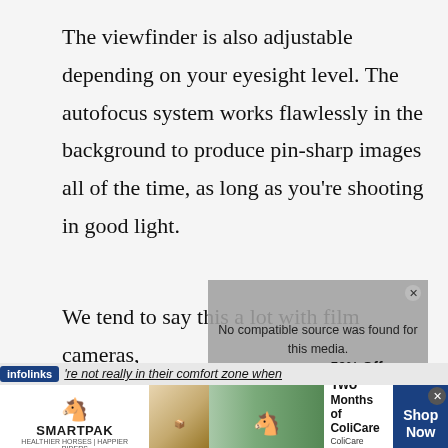The viewfinder is also adjustable depending on your eyesight level. The autofocus system works flawlessly in the background to produce pin-sharp images all of the time, as long as you’re shooting in good light.
We tend to say this a lot with film cameras, ’re not really in their comfort zone when
[Figure (other): Gray video overlay box with message 'No compatible source was found for this media.']
infolinks ’re not really in their comfort zone when
[Figure (other): SmartPak advertisement banner: 50% Off Two Months of ColiCare, ColiCare Eligible Supplements, CODE: COLICARE10, Shop Now button]